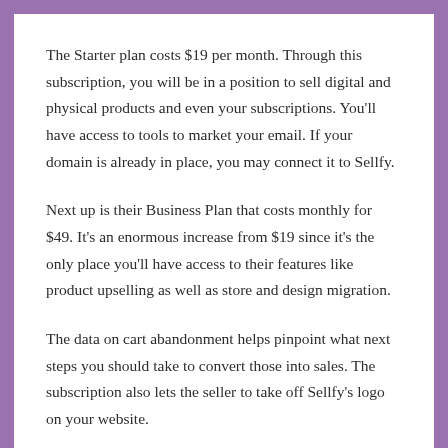The Starter plan costs $19 per month. Through this subscription, you will be in a position to sell digital and physical products and even your subscriptions. You'll have access to tools to market your email. If your domain is already in place, you may connect it to Sellfy.
Next up is their Business Plan that costs monthly for $49. It's an enormous increase from $19 since it's the only place you'll have access to their features like product upselling as well as store and design migration.
The data on cart abandonment helps pinpoint what next steps you should take to convert those into sales. The subscription also lets the seller to take off Sellfy's logo on your website.
Their Premium Plan is the last that starts at $99 a month. You'll be able to access all of their features , and even have priority access